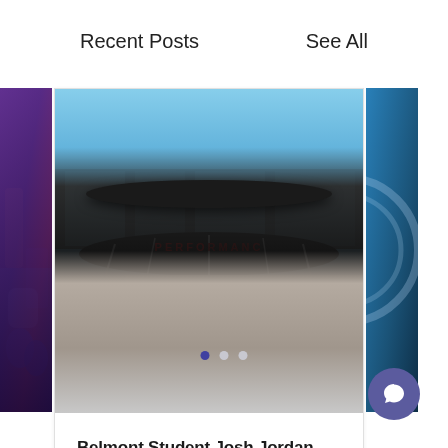Recent Posts
See All
[Figure (photo): Partial view of a concert or event photo on the left side]
[Figure (photo): Person standing in front of a performing arts center building with a large oval black canopy reading PERFO... (partial), blue sky above]
Belmont Student Josh Jordan Cast in New Musical Produced...
594
0
3
[Figure (photo): Partial view of a blue circular image on the right side]
Pagination dots: 3 dots, first active